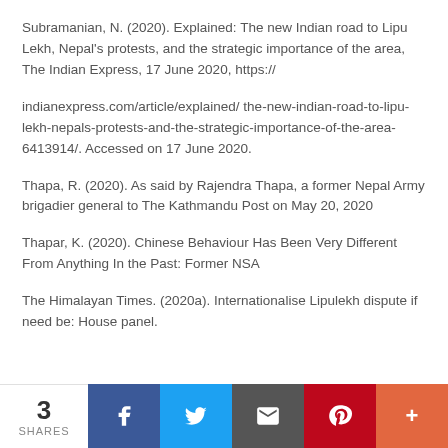Subramanian, N. (2020). Explained: The new Indian road to Lipu Lekh, Nepal's protests, and the strategic importance of the area, The Indian Express, 17 June 2020, https://
indianexpress.com/article/explained/ the-new-indian-road-to-lipu-lekh-nepals-protests-and-the-strategic-importance-of-the-area-6413914/. Accessed on 17 June 2020.
Thapa, R. (2020). As said by Rajendra Thapa, a former Nepal Army brigadier general to The Kathmandu Post on May 20, 2020
Thapar, K. (2020). Chinese Behaviour Has Been Very Different From Anything In the Past: Former NSA
The Himalayan Times. (2020a). Internationalise Lipulekh dispute if need be: House panel.
3 SHARES | Facebook | Twitter | Email | Pinterest | More